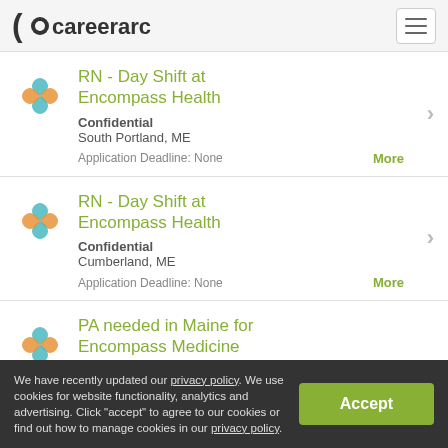careerarc
RN - Day Shift at Encompass Health
Confidential
South Portland, ME
Application Deadline: None
RN - Day Shift at Encompass Health
Confidential
Cumberland, ME
Application Deadline: None
PA needed in Maine for Encompass Medicine
We have recently updated our privacy policy. We use cookies for website functionality, analytics and advertising. Click "accept" to agree to our cookies or find out how to manage cookies in our privacy policy.